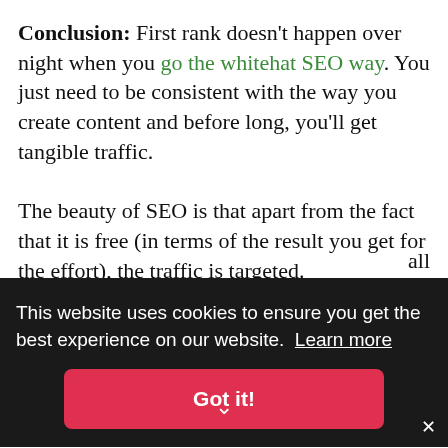Conclusion: First rank doesn't happen over night when you go the whitehat SEO way. You just need to be consistent with the way you create content and before long, you'll get tangible traffic.

The beauty of SEO is that apart from the fact that it is free (in terms of the result you get for the effort), the traffic is targeted. This means that the visitors that would come to your site through search engine are ready to hear what you have to say
[Figure (screenshot): Cookie consent overlay banner with dark background, text 'This website uses cookies to ensure you get the best experience on our website. Learn more', and a red 'Got it!' button. Below is a green footer bar with partial text 'Just keep at it, measure and analysis your' and an X close button.]